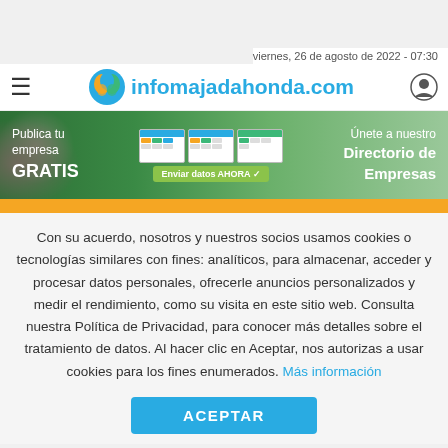viernes, 26 de agosto de 2022 - 07:30
[Figure (logo): infomajadahonda.com logo with hamburger menu and user icon]
[Figure (infographic): Banner: Publica tu empresa GRATIS / Directorio de Empresas / Enviar datos AHORA]
[Figure (other): Orange bar separator]
Con su acuerdo, nosotros y nuestros socios usamos cookies o tecnologías similares con fines: analíticos, para almacenar, acceder y procesar datos personales, ofrecerle anuncios personalizados y medir el rendimiento, como su visita en este sitio web. Consulta nuestra Política de Privacidad, para conocer más detalles sobre el tratamiento de datos. Al hacer clic en Aceptar, nos autorizas a usar cookies para los fines enumerados. Más información
ACEPTAR